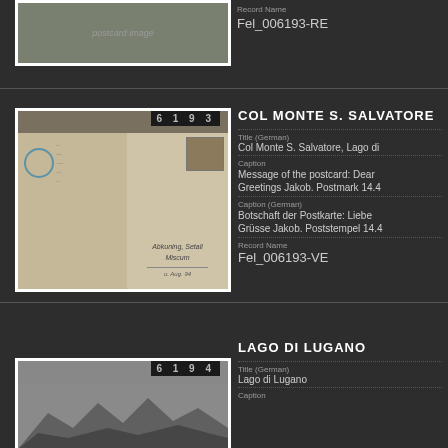[Figure (photo): Partial view of postcard image at top of page, record Fel_006193-RE]
Record Name
Fel_006193-RE
[Figure (photo): Postcard back showing handwritten address, postmark, and stamp. Badge number 6193.]
COL MONTE S. SALVATORE
Title (German)
Col Monte S. Salvatore, Lago di
Caption
Message of the postcard: Dear
Greetings Jakob. Postmark 14.4
Caption (German)
Botschaft der Postkarte: Liebe
Grüsse Jakob. Poststempel 14.4
Record Name
Fel_006193-VE
[Figure (photo): Mountain landscape photo, Lago di Lugano. Badge number 6194.]
LAGO DI LUGANO
Title (German)
Lago di Lugano
Caption